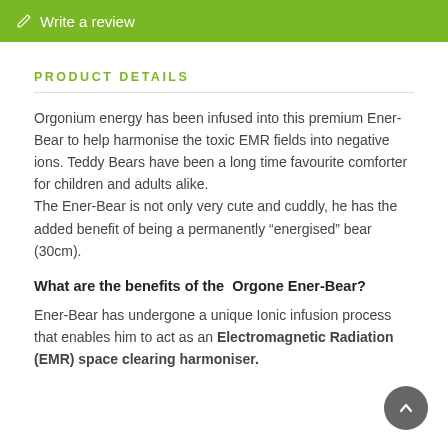Write a review
PRODUCT DETAILS
Orgonium energy has been infused into this premium Ener-Bear to help harmonise the toxic EMR fields into negative ions. Teddy Bears have been a long time favourite comforter for children and adults alike. The Ener-Bear is not only very cute and cuddly, he has the added benefit of being a permanently “energised” bear (30cm).
What are the benefits of the Orgone Ener-Bear?
Ener-Bear has undergone a unique Ionic infusion process that enables him to act as an Electromagnetic Radiation (EMR) space clearing harmoniser.